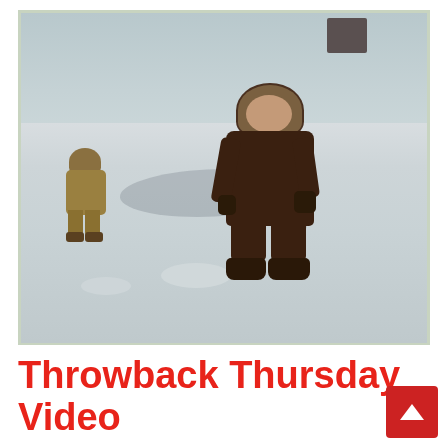[Figure (photo): Vintage photograph of two children in winter clothing standing in snow. The main child in the foreground wears a dark brown hooded winter coat, dark pants, and boots, holding what appears to be a string or stick. A second smaller child stands in the background on the left wearing a brownish-yellow winter suit. The photo has a light green border typical of old printed photographs.]
Throwback Thursday Video